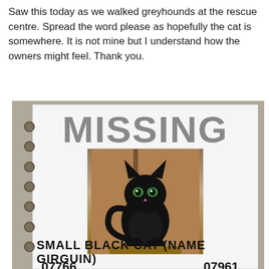Saw this today as we walked greyhounds at the rescue centre. Spread the word please as hopefully the cat is somewhere. It is not mine but I understand how the owners might feel. Thank you.
[Figure (photo): Photo of a missing cat flyer in a plastic sleeve with punch holes. The flyer shows the word MISSING in large grey letters at the top, a photo of a black cat in the center, phone numbers 07766 955 645 on the left and 07961 228 300 on the right, with double underlines beneath each number, and partial text at the bottom reading SMALL BLACK CAT (NAME SOMETHING).]